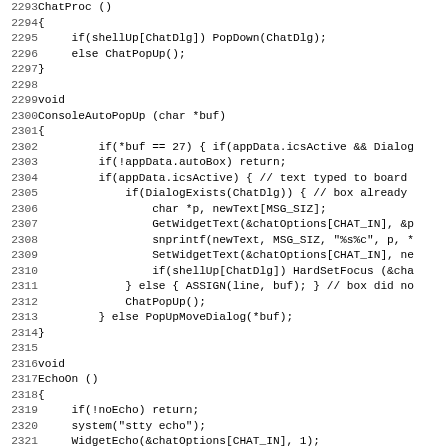[Figure (other): Source code listing in C, lines 2293-2325, showing ChatProc, ConsoleAutoPopUp, and EchoOn functions]